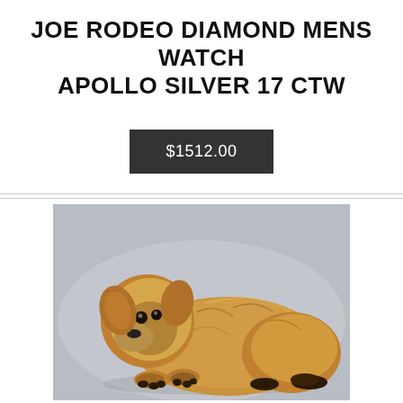JOE RODEO DIAMOND MENS WATCH APOLLO SILVER 17 CTW
$1512.00
[Figure (photo): Ceramic or porcelain figurine of a Pekingese dog in a crouching pose, tan/brown coloring with dark facial features, on a light grey background.]